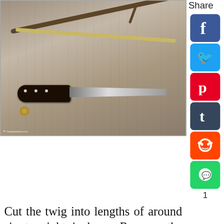[Figure (photo): A knife with a dark wooden handle and metal blade lying on a weathered wooden surface, alongside two twigs - one dark/brown and one lighter colored]
Cut the twig into lengths of around six to eight inches.  Remove the bark - I use my trusty Tina cutting knife which won't dig into the wood beneath.
[Figure (infographic): Cookie Dough ad banner: 'Childhood cancer didn't stop for COVID-19.' with cookies for kids cancer GET BAKING badge]